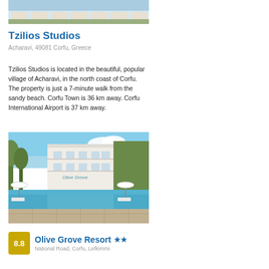[Figure (photo): Beach chairs and loungers at a resort property, top portion visible]
Tzilios Studios
Acharavi, 49081 Corfu, Greece
Tzilios Studios is located in the beautiful, popular village of Acharavi, in the north coast of Corfu. The property is just a 7-minute walk from the sandy beach. Corfu Town is 36 km away. Corfu International Airport is 37 km away.
[Figure (photo): Olive Grove Resort building with swimming pool in foreground, blue sky background, surrounded by trees]
Olive Grove Resort ★★
National Road, Corfu, Lefkimmi